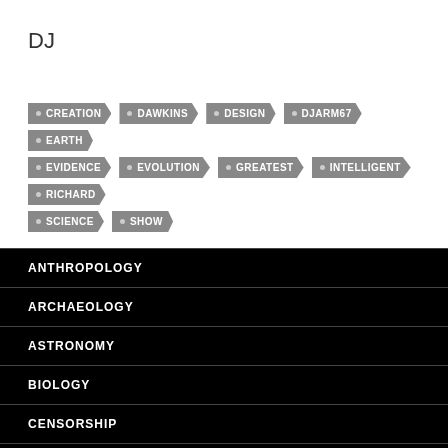DJ
CREATION
DAWKINS
DESIGN
DJARM67
EARTH
EVIDENCE
EVOLUTION
GREATEST
INTELLIGENT
RICHARD
SCIENCE
SHOW
ANTHROPOLOGY
ARCHAEOLOGY
ASTRONOMY
BIOLOGY
CENSORSHIP